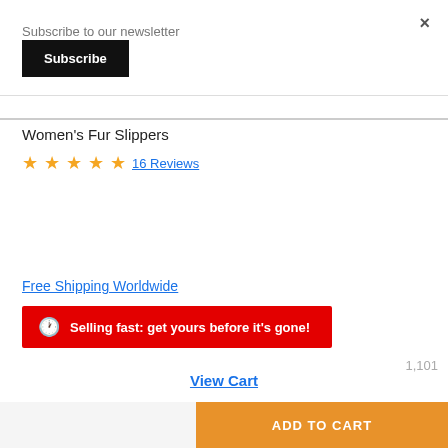Subscribe to our newsletter
Subscribe
×
Women's Fur Slippers
★★★★★  16 Reviews
Free Shipping Worldwide
Selling fast: get yours before it's gone!
View Cart
ADD TO CART